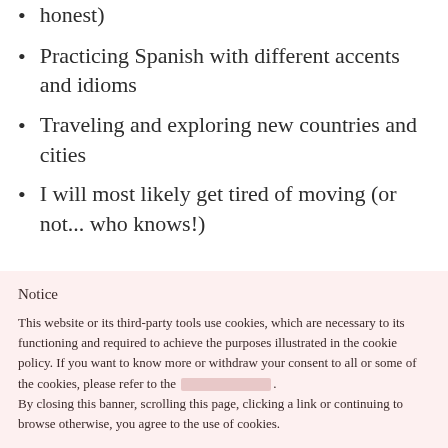honest)
Practicing Spanish with different accents and idioms
Traveling and exploring new countries and cities
I will most likely get tired of moving (or not... who knows!)
Notice
This website or its third-party tools use cookies, which are necessary to its functioning and required to achieve the purposes illustrated in the cookie policy. If you want to know more or withdraw your consent to all or some of the cookies, please refer to the [cookie policy]. By closing this banner, scrolling this page, clicking a link or continuing to browse otherwise, you agree to the use of cookies.